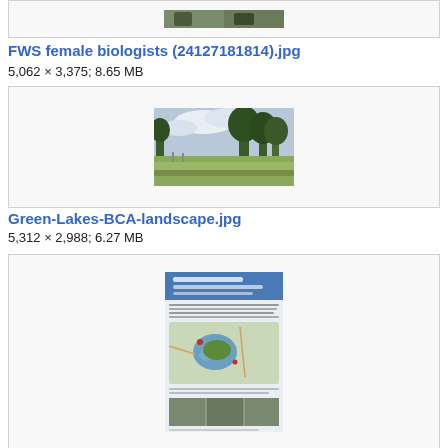[Figure (photo): Partial image box at top of page, cropped wildlife/biologist photo]
FWS female biologists (24127181814).jpg
5,062 × 3,375; 8.65 MB
[Figure (photo): Landscape photo showing open grassy field with trees and cloudy sky, Green Lakes BCA landscape]
Green-Lakes-BCA-landscape.jpg
5,312 × 2,988; 6.27 MB
[Figure (photo): Informational sign/poster with map and text about Green Lakes BCA Bird Conservation Area]